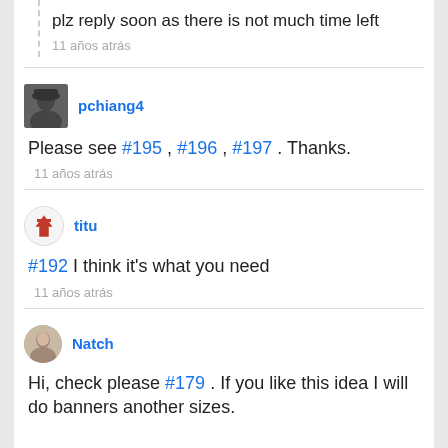plz reply soon as there is not much time left
11 años atrás
pchiang4
Please see #195 , #196 , #197 . Thanks.
11 años atrás
titu
#192 I think it's what you need
11 años atrás
Natch
Hi, check please #179 . If you like this idea I will do banners another sizes.